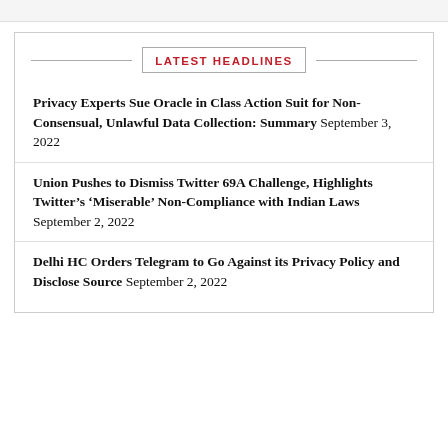LATEST HEADLINES
Privacy Experts Sue Oracle in Class Action Suit for Non-Consensual, Unlawful Data Collection: Summary September 3, 2022
Union Pushes to Dismiss Twitter 69A Challenge, Highlights Twitter’s ‘Miserable’ Non-Compliance with Indian Laws September 2, 2022
Delhi HC Orders Telegram to Go Against its Privacy Policy and Disclose Source September 2, 2022